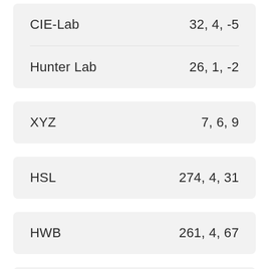| Color Space | Values |
| --- | --- |
| CIE-Lab | 32, 4, -5 |
| Hunter Lab | 26, 1, -2 |
| XYZ | 7, 6, 9 |
| HSL | 274, 4, 31 |
| HWB | 261, 4, 67 |
| HSV | 261, 17, 32 |